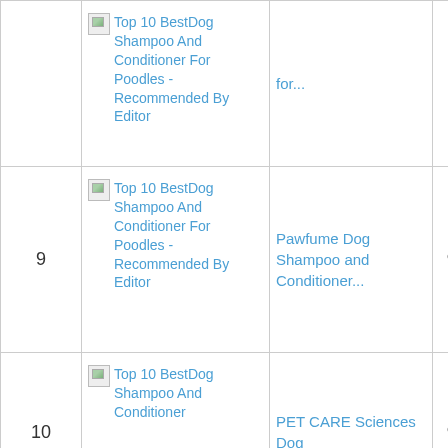| Rank | Image/Link | Product Name | Score |
| --- | --- | --- | --- |
|  | Top 10 BestDog Shampoo And Conditioner For Poodles - Recommended By Editor | for... |  |
| 9 | Top 10 BestDog Shampoo And Conditioner For Poodles - Recommended By Editor | Pawfume Dog Shampoo and Conditioner... | 9.20 |
| 10 | Top 10 BestDog Shampoo And Conditioner | PET CARE Sciences Dog | 9.15 |